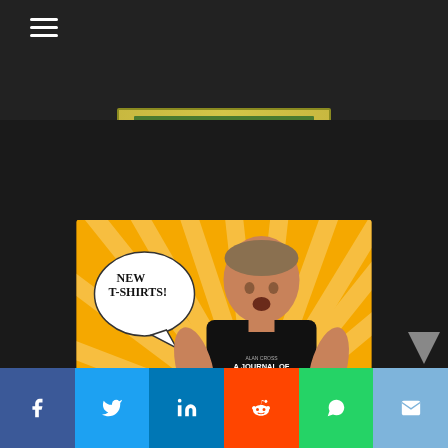[Figure (screenshot): Website header with dark background and hamburger menu icon, and a banner strip below]
[Figure (photo): Man wearing a black 'A Journal of Musical Things' t-shirt on orange sunburst background with speech bubble saying NEW T-SHIRTS!]
[Figure (infographic): Social media share bar with Facebook, Twitter, LinkedIn, Reddit, WhatsApp, and Email buttons]